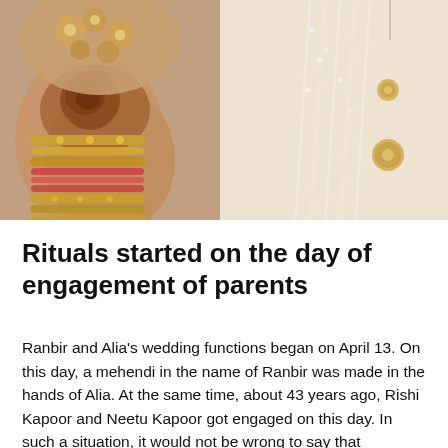[Figure (photo): Close-up photo of a bride's hands decorated with henna/mehendi and gold bangles/chura, resting against a groom wearing a cream/ivory sherwani with pearl necklace and decorative buttons.]
Rituals started on the day of engagement of parents
Ranbir and Alia's wedding functions began on April 13. On this day, a mehendi in the name of Ranbir was made in the hands of Alia. At the same time, about 43 years ago, Rishi Kapoor and Neetu Kapoor got engaged on this day. In such a situation, it would not be wrong to say that April 13 is the day of auspicious for the Kapoor family...